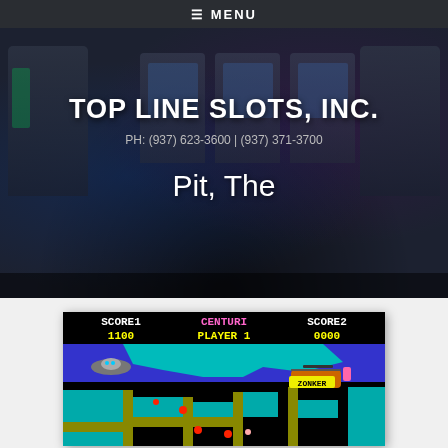≡ MENU
TOP LINE SLOTS, INC.
PH: (937) 623-3600 | (937) 371-3700
Pit, The
[Figure (screenshot): Retro arcade game screenshot showing SCORE1 1100, CENTURI PLAYER 1, SCORE2 0000 with colorful pixel art game scene including UFO, helicopter labeled ZONKER, and maze-like terrain in blue, teal, black and gold colors.]